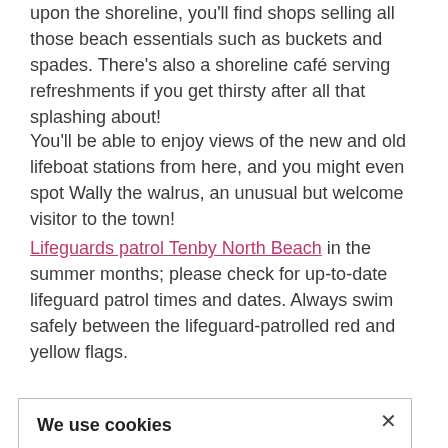upon the shoreline, you'll find shops selling all those beach essentials such as buckets and spades. There's also a shoreline café serving refreshments if you get thirsty after all that splashing about!
You'll be able to enjoy views of the new and old lifeboat stations from here, and you might even spot Wally the walrus, an unusual but welcome visitor to the town!
Lifeguards patrol Tenby North Beach in the summer months; please check for up-to-date lifeguard patrol times and dates. Always swim safely between the lifeguard-patrolled red and yellow flags.
[Figure (screenshot): Cookie consent popup box with title 'We use cookies', body text about cookies, a pink link 'find out more on our cookies.', and a close X button. Partially overlaid on the page content, with 'nearby' text visible to the right and 'Rock' text visible at the bottom.]